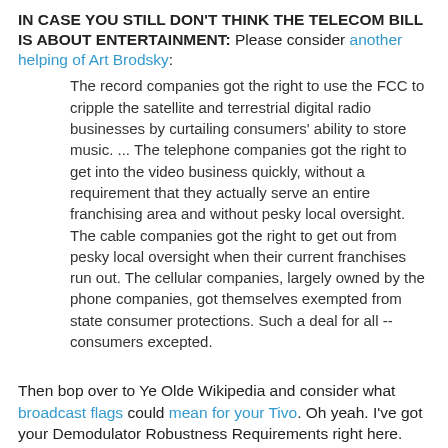IN CASE YOU STILL DON'T THINK THE TELECOM BILL IS ABOUT ENTERTAINMENT: Please consider another helping of Art Brodsky:
The record companies got the right to use the FCC to cripple the satellite and terrestrial digital radio businesses by curtailing consumers' ability to store music. ... The telephone companies got the right to get into the video business quickly, without a requirement that they actually serve an entire franchising area and without pesky local oversight. The cable companies got the right to get out from pesky local oversight when their current franchises run out. The cellular companies, largely owned by the phone companies, got themselves exempted from state consumer protections. Such a deal for all -- consumers excepted.
Then bop over to Ye Olde Wikipedia and consider what broadcast flags could mean for your Tivo. Oh yeah. I've got your Demodulator Robustness Requirements right here.